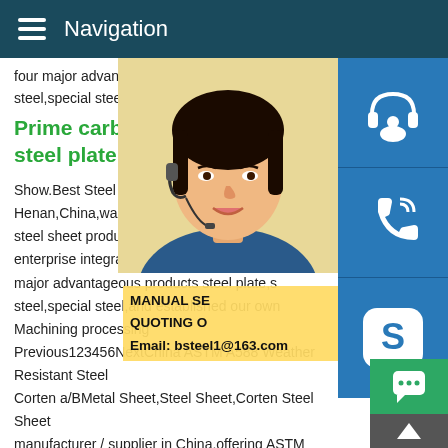Navigation
four major advantageous products steel pl steel,special steel,and established our ow
Prime carbon steel plate,wear steel plate
[Figure (photo): Photo of a young Asian woman with a headset/microphone, customer service representative, with colorful background]
[Figure (screenshot): Blue side buttons: headset icon (customer service), phone/call icon, Skype icon]
MANUAL SE QUOTING O Email: bsteel1@163.com
Show.Best Steel Co.is located in the histo Henan,China,was found in 2000,It Is a co steel sheet products,and we are a profess enterprise integrating production and sales major advantageous products steel plate,s steel,special steel,and established our own Machining processing Previous123456NextChina ASTM A588 Weather Resistant Steel Corten a/BMetal Sheet,Steel Sheet,Corten Steel Sheet manufacturer / supplier in China,offering ASTM A588 Weather Resistant Steel Corten a/B Metal Steel Plate,Cold Rolled G60 Dx51d Hot Dipped Galvanized Steel Coil,Steel Material SA387